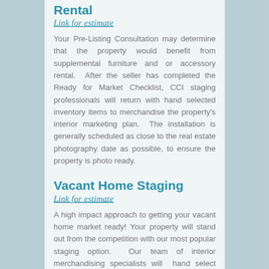Rental
Link for estimate
Your Pre-Listing Consultation may determine that the property would benefit from supplemental furniture and or accessory rental.  After the seller has completed the Ready for Market Checklist, CCI staging professionals will return with hand selected inventory items to merchandise the property's interior marketing plan.  The installation is generally scheduled as close to the real estate photography date as possible, to ensure the property is photo ready.
Vacant Home Staging
Link for estimate
A high impact approach to getting your vacant home market ready! Your property will stand out from the competition with our most popular staging option.  Our team of interior merchandising specialists will  hand select furniture and accessories from our vast collection of home staging rental inventory to compliment your home's architecture and style and highlight its best
Phone | Instagram | Facebook | Twitter | Email